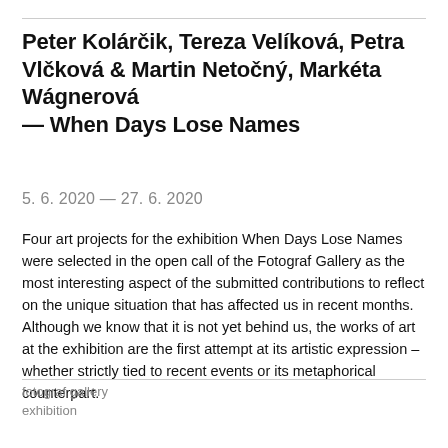Peter Kolárčik, Tereza Velíková, Petra Vlčková & Martin Netočný, Markéta Wágnerová — When Days Lose Names
5. 6. 2020 — 27. 6. 2020
Four art projects for the exhibition When Days Lose Names were selected in the open call of the Fotograf Gallery as the most interesting aspect of the submitted contributions to reflect on the unique situation that has affected us in recent months. Although we know that it is not yet behind us, the works of art at the exhibition are the first attempt at its artistic expression – whether strictly tied to recent events or its metaphorical counterpart.
fotograf gallery
exhibition